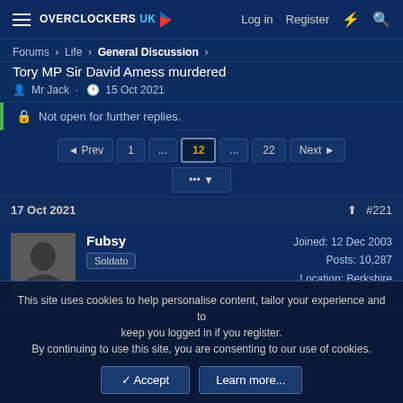Overclockers UK — Log in  Register
Forums > Life > General Discussion >
Tory MP Sir David Amess murdered
Mr Jack · 15 Oct 2021
Not open for further replies.
Prev  1  ...  12  ...  22  Next
17 Oct 2021  #221
Fubsy
Soldato
Joined: 12 Dec 2003
Posts: 10,287
Location: Berkshire
This site uses cookies to help personalise content, tailor your experience and to keep you logged in if you register.
By continuing to use this site, you are consenting to our use of cookies.
Accept   Learn more...